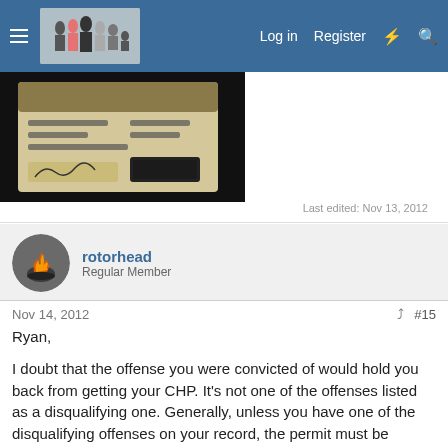Log in  Register
[Figure (photo): Cropped photo of what appears to be an ID or document card on a dark background]
Last edited: Nov 13, 2012
rotorhead
Regular Member
Nov 14, 2012
#15
Ryan,

I doubt that the offense you were convicted of would hold you back from getting your CHP. It's not one of the offenses listed as a disqualifying one. Generally, unless you have one of the disqualifying offenses on your record, the permit must be issued.

The sheriff has a bit more say in the PP, however. The same